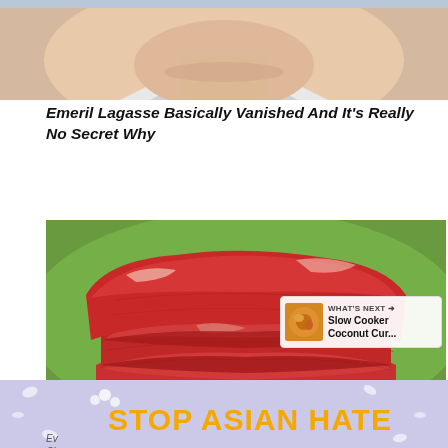[Figure (photo): Close-up photo of a person's face/chin area, showing pale skin with a white shirt collar visible]
Emeril Lagasse Basically Vanished And It's Really No Secret Why
[Figure (photo): Stack of raw red beef steaks piled on top of each other against a blurred green background, with social interaction icons (heart, count of 1, share) overlaid on the right side, and a 'What's Next' preview card showing 'Slow Cooker Coconut Cur...']
[Figure (photo): Advertisement banner with lavender/purple background, white flower decorations, and orange bold text reading 'STOP ASIAN HATE' with an illustrated woman figure, plus two close buttons]